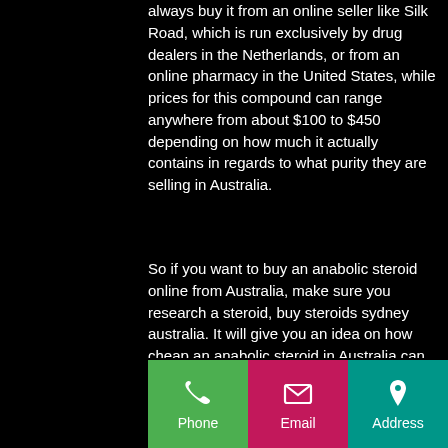always buy it from an online seller like Silk Road, which is run exclusively by drug dealers in the Netherlands, or from an online pharmacy in the United States, while prices for this compound can range anywhere from about $100 to $450 depending on how much it actually contains in regards to what purity they are selling in Australia.
So if you want to buy an anabolic steroid online from Australia, make sure you research a steroid, buy steroids sydney australia. It will give you an idea on how cheap an anabolic steroid in Australia can be.
If you have systemic sclerosis, prednisolone could cause problems with your kidneys at certain doses, as you might not be able to
Phone | Email | Address